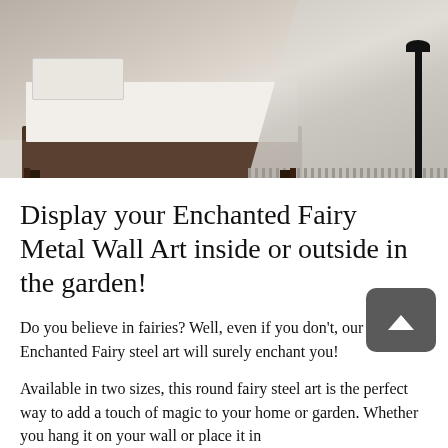[Figure (photo): Bedroom scene with bed frame, white bedding, grey/beige blanket with fringe, and a dark metal lamp stand visible on the right side. Light wooden floor visible underneath.]
Display your Enchanted Fairy Metal Wall Art inside or outside in the garden!
Do you believe in fairies? Well, even if you don't, our Enchanted Fairy steel art will surely enchant you!
Available in two sizes, this round fairy steel art is the perfect way to add a touch of magic to your home or garden. Whether you hang it on your wall or place it in